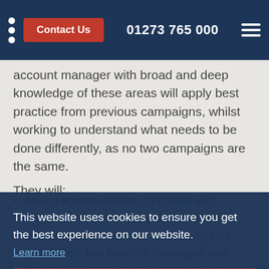Contact Us | 01273 765 000
account manager with broad and deep knowledge of these areas will apply best practice from previous campaigns, whilst working to understand what needs to be done differently, as no two campaigns are the same.
They will:
Assign agents with the right skills and experience for your campaign profile.
Be thoroughly briefed on articulating your proposition, key benefits, messages and desired outcomes using a framework such as BANT (Budget, Authority, Need, Timing) to understand the key criteria that define value for you.
Implement an early stage campaign review capturing client and agent feedback so that barriers
This website uses cookies to ensure you get the best experience on our website.
Learn more
Got it!